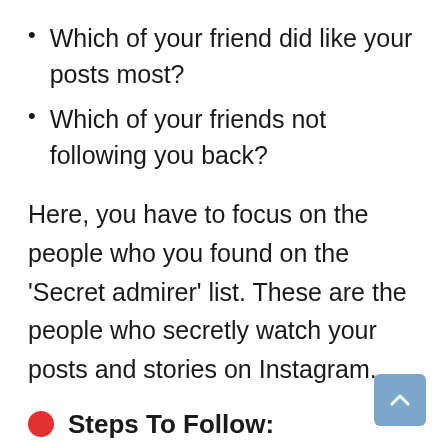Which of your friend did like your posts most?
Which of your friends not following you back?
Here, you have to focus on the people who you found on the ‘Secret admirer’ list. These are the people who secretly watch your posts and stories on Instagram.
Steps To Follow: